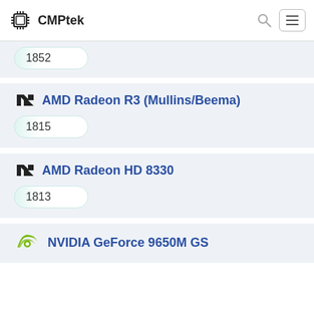CMPtek
1852
AMD Radeon R3 (Mullins/Beema)
1815
AMD Radeon HD 8330
1813
NVIDIA GeForce 9650M GS